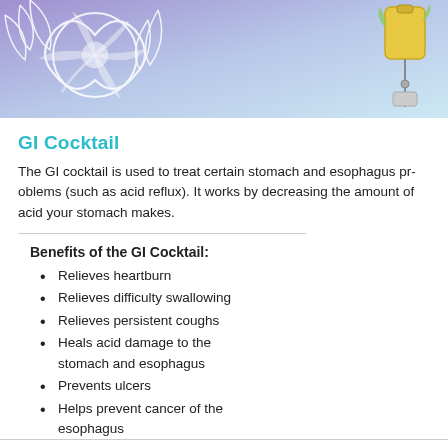[Figure (illustration): Banner image with purple floral illustration on left and IV drip bag on right, gradient background from purple to light blue]
GI Cocktail
The GI cocktail is used to treat certain stomach and esophagus problems (such as acid reflux). It works by decreasing the amount of acid your stomach makes.
Benefits of the GI Cocktail:
Relieves heartburn
Relieves difficulty swallowing
Relieves persistent coughs
Heals acid damage to the stomach and esophagus
Prevents ulcers
Helps prevent cancer of the esophagus